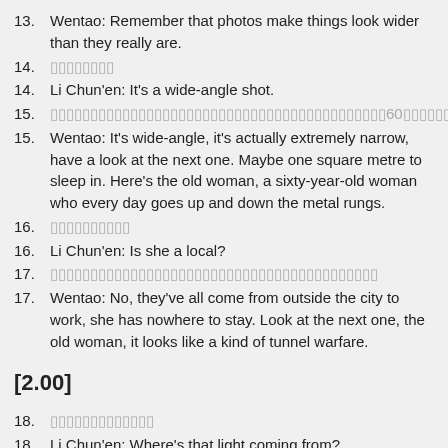13.  Wentao: Remember that photos make things look wider than they really are.
14.  [Chinese text]
14.  Li Chun'en: It's a wide-angle shot.
15.  [Chinese text with 60]
15.  Wentao: It's wide-angle, it's actually extremely narrow, have a look at the next one. Maybe one square metre to sleep in. Here's the old woman, a sixty-year-old woman who every day goes up and down the metal rungs.
16.  [Chinese text]
16.  Li Chun'en: Is she a local?
17.  [Chinese text]
17.  Wentao: No, they've all come from outside the city to work, she has nowhere to stay. Look at the next one, the old woman, it looks like a kind of tunnel warfare.
[2.00]
18.  [Chinese text]
18.  Li Chun'en: Where's that light coming from?